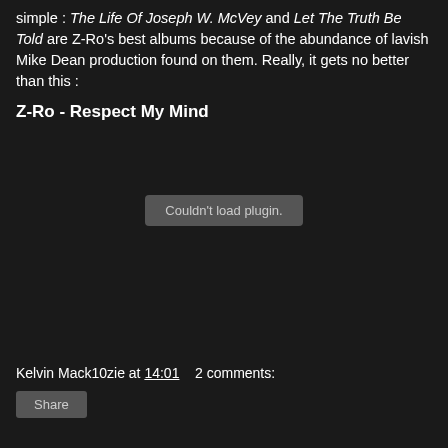simple : The Life Of Joseph W. McVey and Let The Truth Be Told are Z-Ro's best albums because of the abundance of lavish Mike Dean production found on them. Really, it gets no better than this :
Z-Ro - Respect My Mind
[Figure (other): Embedded audio/video plugin area showing 'Couldn't load plugin.' error message]
Kelvin Mack10zie at 14:01   2 comments:
Share